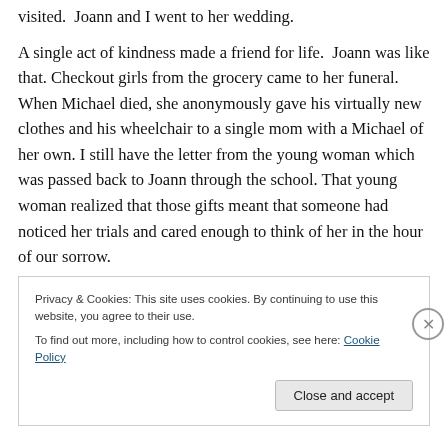visited.  Joann and I went to her wedding.
A single act of kindness made a friend for life.  Joann was like that. Checkout girls from the grocery came to her funeral.  When Michael died, she anonymously gave his virtually new clothes and his wheelchair to a single mom with a Michael of her own. I still have the letter from the young woman which was passed back to Joann through the school. That young woman realized that those gifts meant that someone had noticed her trials and cared enough to think of her in the hour of our sorrow.
Privacy & Cookies: This site uses cookies. By continuing to use this website, you agree to their use.
To find out more, including how to control cookies, see here: Cookie Policy